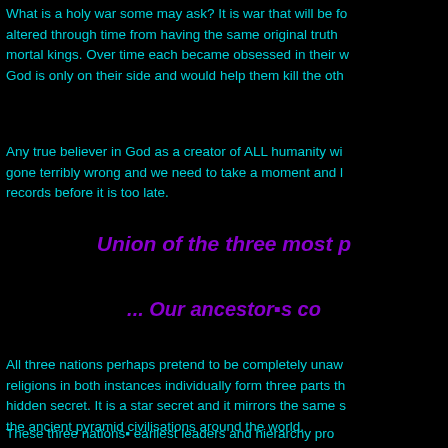What is a holy war some may ask? It is war that will be f... altered through time from having the same original truth... mortal kings. Over time each became obsessed in their w... God is only on their side and would help them kill the oth...
Any true believer in God as a creator of ALL humanity wi... gone terribly wrong and we need to take a moment and l... records before it is too late.
Union of the three most p...
... Our ancestor�s co...
All three nations perhaps pretend to be completely unaw... religions in both instances individually form three parts th... hidden secret. It is a star secret and it mirrors the same s... the ancient pyramid civilisations around the world.
These three nations� earliest leaders and hierarchy pr... because the star ancestor records stood a chance at un... choice made by both civilisations was no doubt inspirat...